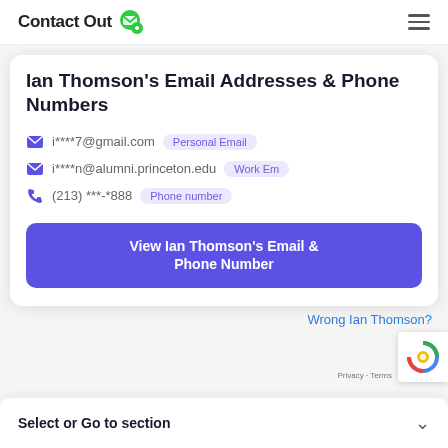ContactOut [logo]
Ian Thomson's Email Addresses & Phone Numbers
i****7@gmail.com  Personal Email
i****n@alumni.princeton.edu  Work Em
(213) ***-*888  Phone number
View Ian Thomson's Email & Phone Number
Wrong Ian Thomson?
Select or Go to section